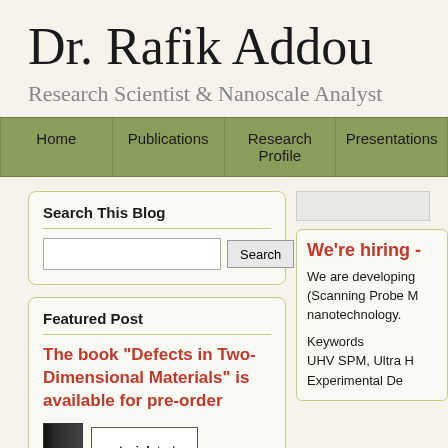Dr. Rafik Addou
Research Scientist & Nanoscale Analyst
Home | Publications | Research Profile | Presentations
Search This Blog
Featured Post
The book "Defects in Two-Dimensional Materials" is available for pre-order
[Figure (screenshot): Book thumbnail (dark cover) and materialstoday logo]
We're hiring -
We are developing (Scanning Probe M nanotechnology.
Keywords UHV SPM, Ultra H Experimental De